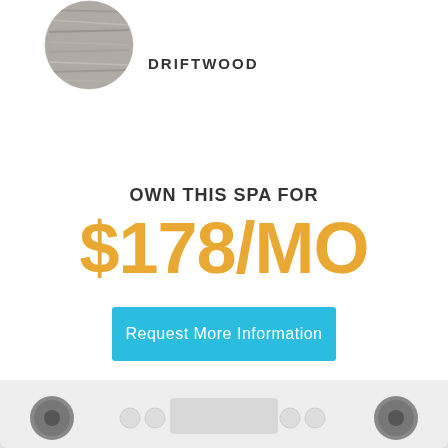[Figure (illustration): A circular color swatch showing a gray/driftwood texture, partially cropped at the top of the page]
DRIFTWOOD
OWN THIS SPA FOR
$178/MO
Request More Information
[Figure (photo): Bottom portion of a spa control panel showing a white/gray panel with circular jet controls and display, partially cropped at the bottom of the page]